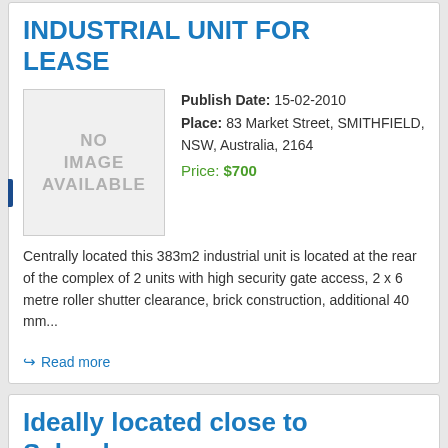INDUSTRIAL UNIT FOR LEASE
[Figure (other): No image available placeholder box]
Publish Date: 15-02-2010
Place: 83 Market Street, SMITHFIELD, NSW, Australia, 2164
Price: $700
Centrally located this 383m2 industrial unit is located at the rear of the complex of 2 units with high security gate access, 2 x 6 metre roller shutter clearance, brick construction, additional 40 mm...
Read more
Ideally located close to Schools